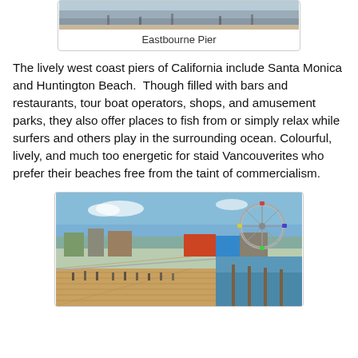[Figure (photo): Top portion of Eastbourne Pier photo, partially visible at top of page]
Eastbourne Pier
The lively west coast piers of California include Santa Monica and Huntington Beach.  Though filled with bars and restaurants, tour boat operators, shops, and amusement parks, they also offer places to fish from or simply relax while surfers and others play in the surrounding ocean. Colourful, lively, and much too energetic for staid Vancouverites who prefer their beaches free from the taint of commercialism.
[Figure (photo): Santa Monica Pier with ferris wheel and amusement park visible, crowds of people walking on the wooden pier, ocean on the right side]